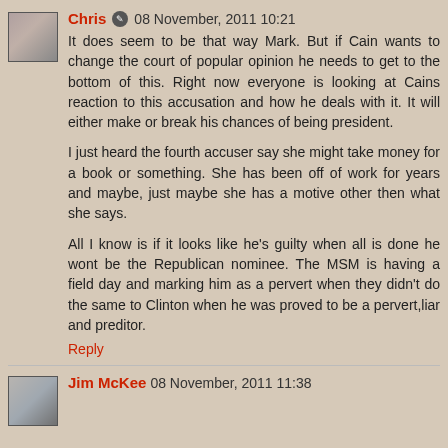Chris 🖉 08 November, 2011 10:21
It does seem to be that way Mark. But if Cain wants to change the court of popular opinion he needs to get to the bottom of this. Right now everyone is looking at Cains reaction to this accusation and how he deals with it. It will either make or break his chances of being president.

I just heard the fourth accuser say she might take money for a book or something. She has been off of work for years and maybe, just maybe she has a motive other then what she says.

All I know is if it looks like he's guilty when all is done he wont be the Republican nominee. The MSM is having a field day and marking him as a pervert when they didn't do the same to Clinton when he was proved to be a pervert,liar and preditor.
Reply
Jim McKee  08 November, 2011 11:38